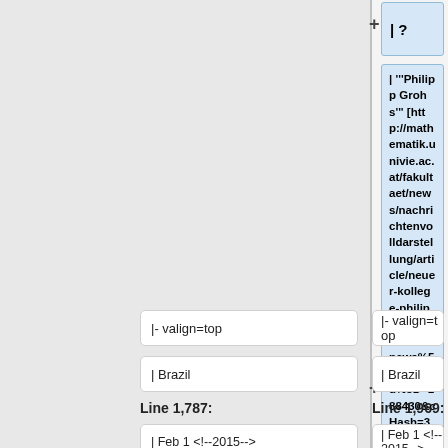| ?
| '''Philipp Grohs''' [http://mathematik.univie.ac.at/fakultaet/news/nachrichtenvolldarstellung/article/neuer-kollege-philipp-grohs/?tx_ttnews%5BbackPid%5D=188430&cHash=30c902ffc1c776adc8f529ce2882cba6]
|- valign=top
|- valign=top
| Brazil
| Brazil
Line 1,787:
Line 1,969:
| Feb 1 <!--2015-->
| Feb 1 <!--2015-->
|
|